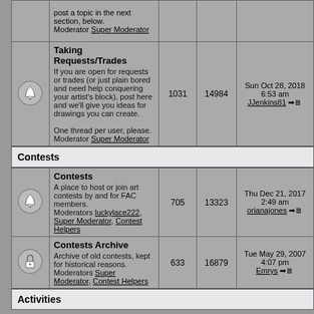|  | Forum | Topics | Posts | Last Post |
| --- | --- | --- | --- | --- |
| [icon] | Taking Requests/Trades
If you are open for requests or trades (or just plain bored and need help conquering your artist's block), post here and we'll give you ideas for drawings you can create.
One thread per user, please.
Moderator Super Moderator | 1031 | 14984 | Sun Oct 28, 2018 6:53 am
JJenkins81 |
| Contests |  |  |  |  |
| [icon] | Contests
A place to host or join art contests by and for FAC members.
Moderators luckylace222, Super Moderator, Contest Helpers | 705 | 13323 | Thu Dec 21, 2017 2:49 am
orianajones |
| [icon-lock] | Contests Archive
Archive of old contests, kept for historical reasons.
Moderators Super Moderator, Contest Helpers | 633 | 16879 | Tue May 29, 2007 4:07 pm
Emrys |
| Activities |  |  |  |  |